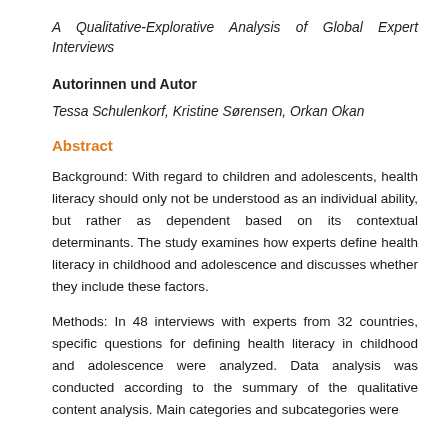A Qualitative-Explorative Analysis of Global Expert Interviews
Autorinnen und Autor
Tessa Schulenkorf, Kristine Sørensen, Orkan Okan
Abstract
Background: With regard to children and adolescents, health literacy should only not be understood as an individual ability, but rather as dependent based on its contextual determinants. The study examines how experts define health literacy in childhood and adolescence and discusses whether they include these factors.
Methods: In 48 interviews with experts from 32 countries, specific questions for defining health literacy in childhood and adolescence were analyzed. Data analysis was conducted according to the summary of the qualitative content analysis. Main categories and subcategories were